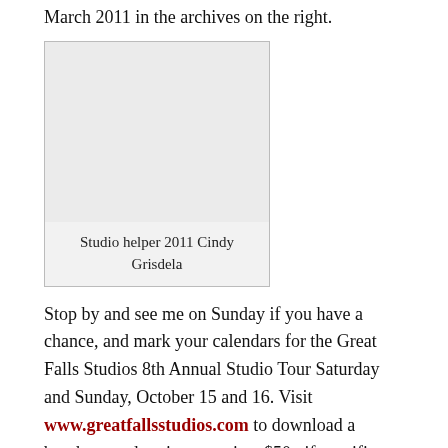March 2011 in the archives on the right.
[Figure (photo): Placeholder image box for Studio helper 2011 Cindy Grisdela]
Studio helper 2011 Cindy Grisdela
Stop by and see me on Sunday if you have a chance, and mark your calendars for the Great Falls Studios 8th Annual Studio Tour Saturday and Sunday, October 15 and 16. Visit www.greatfallsstudios.com to download a brochure and register to win a $50 gift certificate good towards the purchase of art during the tour.
At right is a shot of my cat, Noel, who thinks she's helping